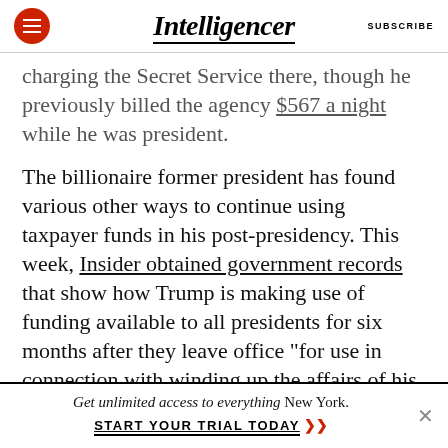Intelligencer | SUBSCRIBE
charging the Secret Service there, though he previously billed the agency $567 a night while he was president.
The billionaire former president has found various other ways to continue using taxpayer funds in his post-presidency. This week, Insider obtained government records that show how Trump is making use of funding available to all presidents for six months after they leave office “for use in connection with winding up the affairs of his office,” per the Presidential Transition Act. Trump is using
Get unlimited access to everything New York. START YOUR TRIAL TODAY